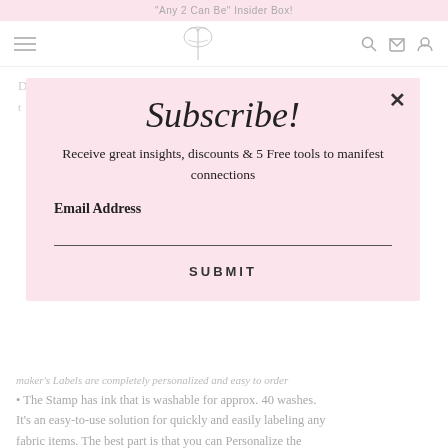"Any 2 Can Be" Insider Box!
[Figure (logo): Decorative script logo with bird/butterfly illustration in light gray]
Subscribe!
Receive great insights, discounts & 5 Free tools to manifest connections
Email Address
SUBMIT
maker's Labels are completely personalized and easy to order • The Stamp has ink that is washable for approx. 40 washes. It's an easy-to-use solution for quickly and easily labeling any fabric items. The best part is that you can Personalize the stamp with a name, to prep for back to school, daycare, camp or